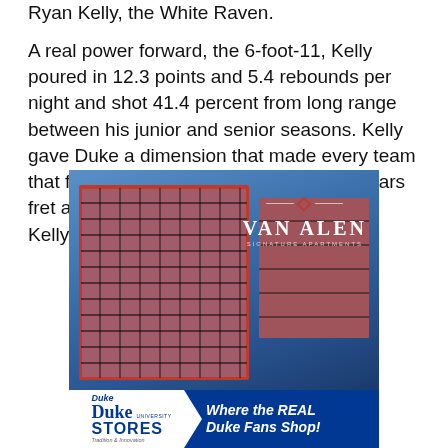Ryan Kelly, the White Raven.
A real power forward, the 6-foot-11, Kelly poured in 12.3 points and 5.4 rebounds per night and shot 41.4 percent from long range between his junior and senior seasons. Kelly gave Duke a dimension that made every team that faced the Blue Devils during those years fret about which defense could take away Kelly's specific set of skills.
[Figure (photo): Advertisement for Van Alen Signature Apartments showing a modern multi-story apartment building with red brick and glass facade against a blue sky]
[Figure (other): Duke Stores advertisement banner reading 'Where the REAL Duke Fans Shop!']